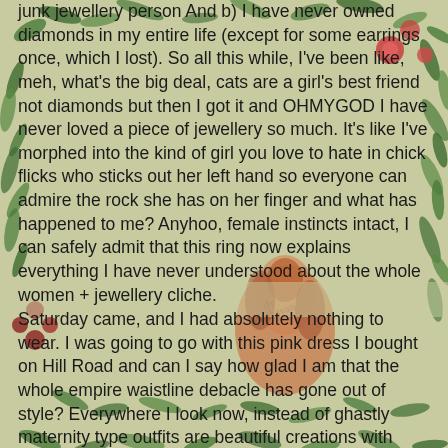junk jewellery person And b) I have never owned diamonds in my entire life (except for some earrings once, which I lost). So all this while, I've been like, meh, what's the big deal, cats are a girl's best friend not diamonds but then I got it and OHMYGOD I have never loved a piece of jewellery so much. It's like I've morphed into the kind of girl you love to hate in chick flicks who sticks out her left hand so everyone can admire the rock she has on her finger and what has happened to me? Anyhoo, female instincts intact, I can safely admit that this ring now explains everything I have never understood about the whole women + jewellery cliche.
[Figure (illustration): Decorative botanical illustration background with green leaves, red flowers, and a central fox or animal figure in earthy tones.]
Saturday came, and I had absolutely nothing to wear. I was going to go with this pink dress I bought on Hill Road and can I say how glad I am that the whole empire waistline debacle has gone out of style? Everywhere I look now, instead of ghastly maternity type outfits are beautiful creations with fitted waists and plunging backs and now we can finally move on. My pink dress is very pretty with a